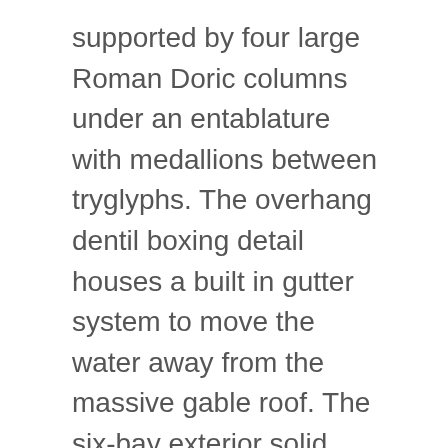supported by four large Roman Doric columns under an entablature with medallions between tryglyphs. The overhang dentil boxing detail houses a built in gutter system to move the water away from the massive gable roof. The six-bay exterior solid Flemish Bond brick walls have recessed brick work at the window locations.
The steeple is characterized by several different stages. The masonry square base is accented by sandstone quoin corners with bull's eye windows. The next tier is also built of brick, but octagonal in shape with round top open louvres vents to allow the